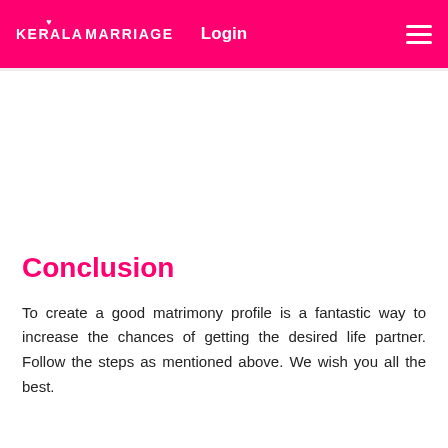KERALA MARRIAGE   Login
Conclusion
To create a good matrimony profile is a fantastic way to increase the chances of getting the desired life partner. Follow the steps as mentioned above. We wish you all the best.